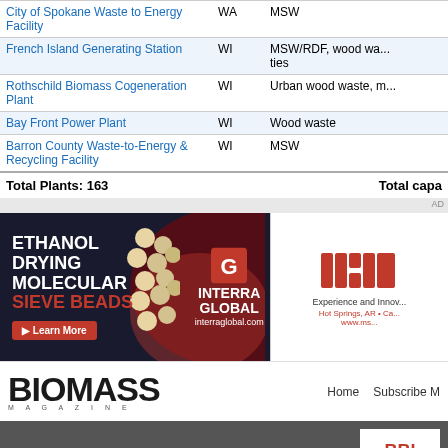| Plant Name | State | Fuel |
| --- | --- | --- |
| City of Spokane Waste to Energy Facility | WA | MSW |
| French Island Generating Station | WI | MSW/RDF, wood wa... ties |
| Rothschild Biomass Cogeneration Plant | WI | Urban wood waste, m... |
| Bay Front Power Plant | WI | Wood waste |
| Barron County Waste-to-Energy & Recycling Facility | WI | MSW |
Total Plants: 163     Total capa...
[Figure (infographic): Advertisement banner for Interra Global: Ethanol Drying Molecular Sieve Beads with Learn More button and interraglobal.com URL]
[Figure (logo): MS company logo with tagline Experience and Innov... Hot Springs, AR and www.ms... URL]
[Figure (logo): Biomass Magazine logo with navigation links: Home, Subscribe]
[Figure (logo): BBI M logo box in footer dark gray section]